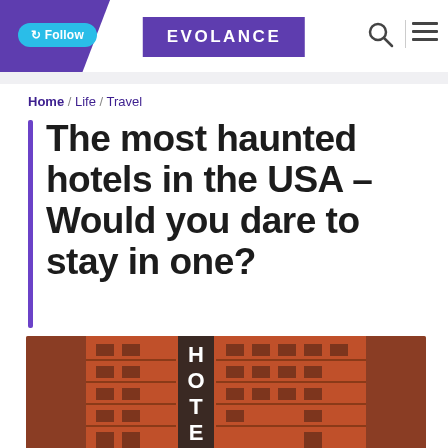Follow | EVOLANCE
Home / Life / Travel
The most haunted hotels in the USA – Would you dare to stay in one?
[Figure (photo): Exterior photograph of a red brick hotel building with a vertical neon HOTEL sign, showing fire escapes and balconies on the facade.]